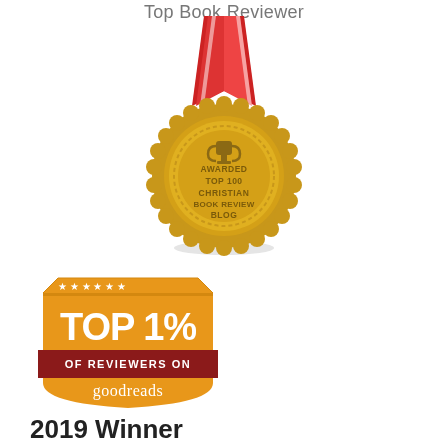Top Book Reviewer
[Figure (illustration): Gold award medal with red and white ribbon at top. Medal has a serrated edge and reads: AWARDED TOP 100 CHRISTIAN BOOK REVIEW BLOG with a trophy icon at top center.]
[Figure (illustration): Orange badge/shield shape with stars along top edge. White bold text reads: TOP 1% OF REVIEWERS ON goodreads. Dark red banner across middle with 'OF REVIEWERS ON' text.]
2019 Winner